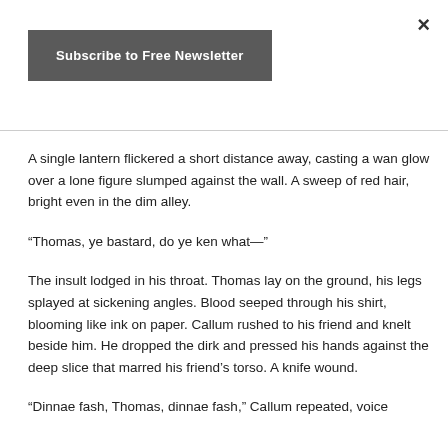×
Subscribe to Free Newsletter
A single lantern flickered a short distance away, casting a wan glow over a lone figure slumped against the wall. A sweep of red hair, bright even in the dim alley.
“Thomas, ye bastard, do ye ken what—”
The insult lodged in his throat. Thomas lay on the ground, his legs splayed at sickening angles. Blood seeped through his shirt, blooming like ink on paper. Callum rushed to his friend and knelt beside him. He dropped the dirk and pressed his hands against the deep slice that marred his friend’s torso. A knife wound.
“Dinnae fash, Thomas, dinnae fash,” Callum repeated, voice